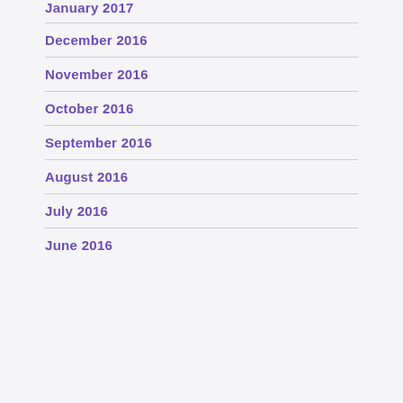January 2017
December 2016
November 2016
October 2016
September 2016
August 2016
July 2016
June 2016